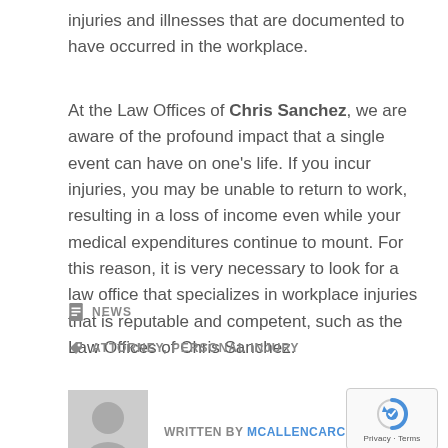injuries and illnesses that are documented to have occurred in the workplace.
At the Law Offices of Chris Sanchez, we are aware of the profound impact that a single event can have on one’s life. If you incur injuries, you may be unable to return to work, resulting in a loss of income even while your medical expenditures continue to mount. For this reason, it is very necessary to look for a law office that specializes in workplace injuries that is reputable and competent, such as the Law Offices of Chris Sanchez.
NEWS
ATTORNEY, PERSONAL INJURY
WRITTEN BY MCALLENCARCRASH
[Figure (illustration): Gray placeholder avatar icon of a person silhouette]
[Figure (other): reCAPTCHA badge with Privacy and Terms text]